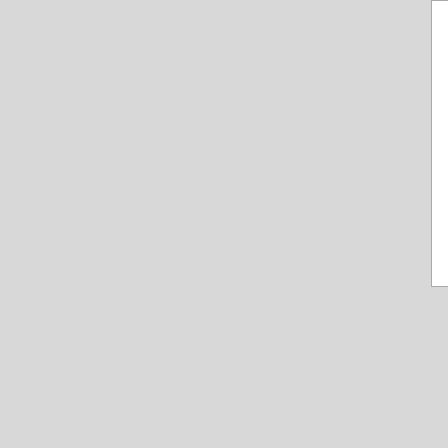[quote]Lately, the "weather" hasn't been co-operating for AGW ..[/quote]

Well, it depends on where you live. Here in Vancouver they've had to truck in snow from over 200 km away to supply the local ski runs with snow for the olympics.

Too warm and rainy for this time of year.
Luke H on February 12, 2010 - 5:55pm
Permalink | Parent | Comments top
Been toasty up here